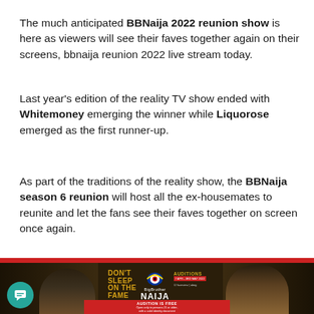The much anticipated BBNaija 2022 reunion show is here as viewers will see their faves together again on their screens, bbnaija reunion 2022 live stream today.
Last year's edition of the reality TV show ended with Whitemoney emerging the winner while Liquorose emerged as the first runner-up.
As part of the traditions of the reality show, the BBNaija season 6 reunion will host all the ex-housemates to reunite and let the fans see their faves together on screen once again.
[Figure (photo): BBNaija Season 7 promotional image showing two people facing each other with the Big Brother Naija logo, 'DON'T SLEEP ON THE FAME' text, auditions information, and partner logos including fuzeview and abeg.]